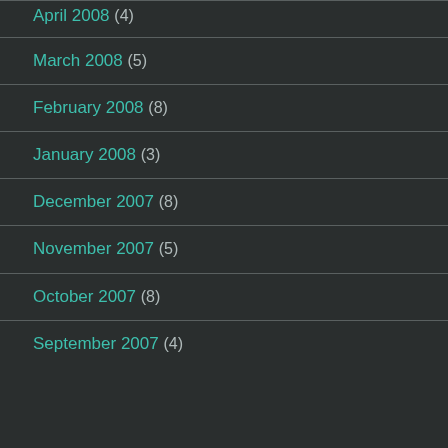April 2008 (4)
March 2008 (5)
February 2008 (8)
January 2008 (3)
December 2007 (8)
November 2007 (5)
October 2007 (8)
September 2007 (4)